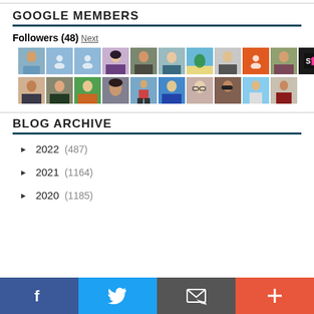GOOGLE MEMBERS
Followers (48) Next
[Figure (photo): Grid of 21 follower avatar photos and placeholder icons for Google Members]
BLOG ARCHIVE
► 2022 (487)
► 2021 (1164)
► 2020 (1185)
Facebook | Twitter | Email | Plus